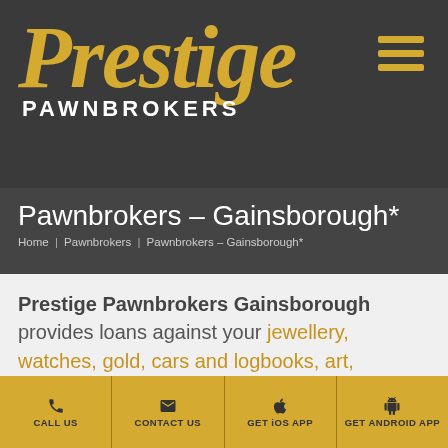[Figure (logo): Prestige Pawnbrokers logo in gold italic serif font on dark grey background, with hamburger menu icon in gold on the right]
Pawnbrokers – Gainsborough*
Home | Pawnbrokers | Pawnbrokers – Gainsborough*
Prestige Pawnbrokers Gainsborough provides loans against your jewellery, watches, gold, cars and logbooks, art, designer handbags, antiques, fine wine, cherished plates & other
CALL US | CONTACT US | GET iOS APP | GET ANDROID APP